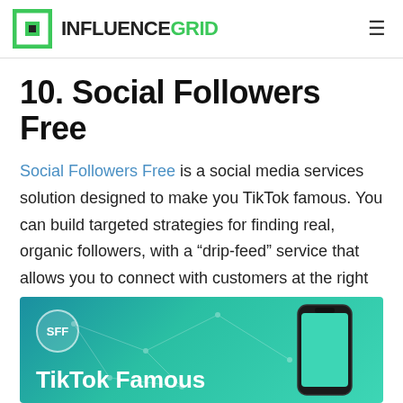INFLUENCEGRID
10. Social Followers Free
Social Followers Free is a social media services solution designed to make you TikTok famous. You can build targeted strategies for finding real, organic followers, with a “drip-feed” service that allows you to connect with customers at the right pace.
[Figure (screenshot): Social Followers Free promotional banner with teal/green gradient background, SFF logo circle, phone graphic on the right, and text 'TikTok Famous' at the bottom]